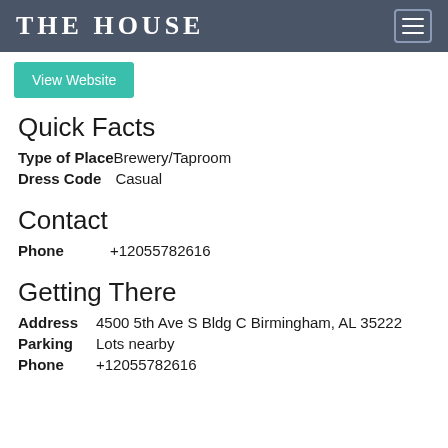THE HOUSE
View Website
Quick Facts
Type of Place: Brewery/Taproom
Dress Code: Casual
Contact
Phone: +12055782616
Getting There
Address: 4500 5th Ave S Bldg C Birmingham, AL 35222
Parking: Lots nearby
Phone: +12055782616